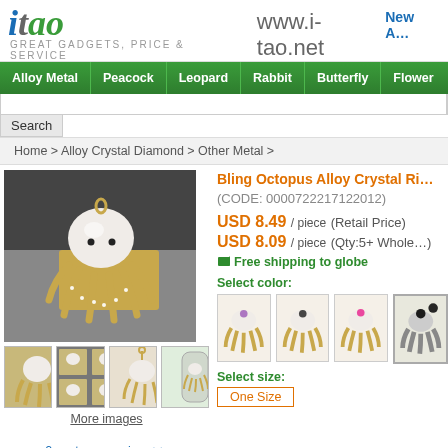itao  www.i-tao.net  GREAT GADGETS, PRICE & SERVICE  New A…
Alloy Metal | Peacock | Leopard | Rabbit | Butterfly | Flower
Search
Home > Alloy Crystal Diamond > Other Metal >
[Figure (photo): White bling octopus alloy crystal rhinestone ring/pendant on gold background]
[Figure (photo): Thumbnail 1: small octopus figurine]
[Figure (photo): Thumbnail 2: multiple octopus figures]
[Figure (photo): Thumbnail 3: octopus necklace pendant]
[Figure (photo): Thumbnail 4: octopus in bottle]
More images
0 customer reviews>>
Bling Octopus Alloy Crystal Ri… (CODE: 0000722217122012)
USD 8.49 / piece (Retail Price)
USD 8.09 / piece (Qty:5+ Whole…)
Free shipping to globe
Select color:
[Figure (photo): Color swatch 1: gold octopus with purple gem]
[Figure (photo): Color swatch 2: gold octopus with dark gem]
[Figure (photo): Color swatch 3: gold octopus with pink gem]
[Figure (photo): Color swatch 4: dark octopus with black gem (selected)]
Select size:
One Size